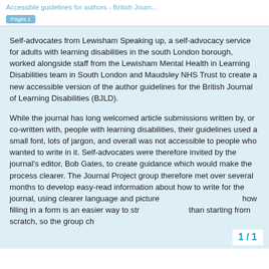Accessible guidelines for authors - British Journ...
Self-advocates from Lewisham Speaking up, a self-advocacy service for adults with learning disabilities in the south London borough, worked alongside staff from the Lewisham Mental Health in Learning Disabilities team in South London and Maudsley NHS Trust to create a new accessible version of the author guidelines for the British Journal of Learning Disabilities (BJLD).
While the journal has long welcomed article submissions written by, or co-written with, people with learning disabilities, their guidelines used a small font, lots of jargon, and overall was not accessible to people who wanted to write in it. Self-advocates were therefore invited by the journal's editor, Bob Gates, to create guidance which would make the process clearer. The Journal Project group therefore met over several months to develop easy-read information about how to write for the journal, using clearer language and picture... The guidance shows how filling in a form is an easier way to str... than starting from scratch, so the group ch...
1 / 1